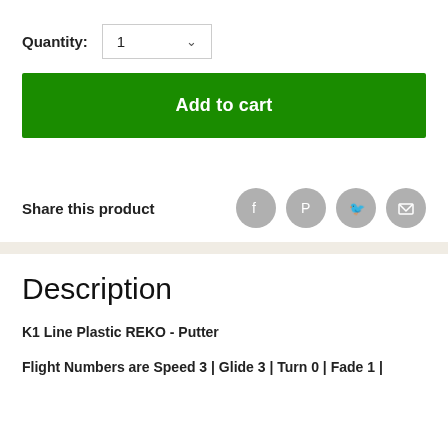Quantity: 1
Add to cart
Share this product
Description
K1 Line Plastic REKO - Putter
Flight Numbers are Speed 3 | Glide 3 | Turn 0 | Fade 1 |